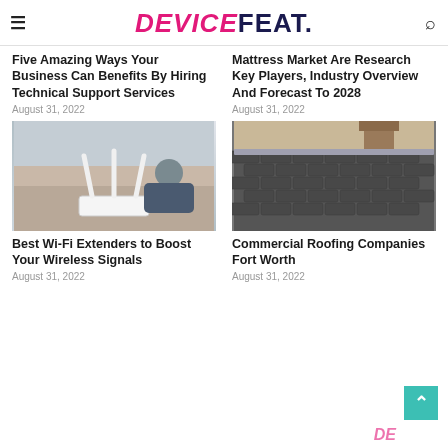DEVICEFEAT.
Five Amazing Ways Your Business Can Benefits By Hiring Technical Support Services
August 31, 2022
Mattress Market Are Research Key Players, Industry Overview And Forecast To 2028
August 31, 2022
[Figure (photo): Wi-Fi router with antennas, person sitting on sofa in background]
[Figure (photo): Commercial roofing with dark metallic tiles and brick chimney]
Best Wi-Fi Extenders to Boost Your Wireless Signals
August 31, 2022
Commercial Roofing Companies Fort Worth
August 31, 2022